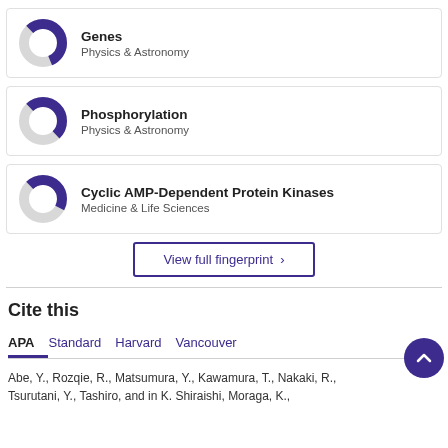[Figure (donut-chart): Donut chart showing partial fill, purple segment approximately 55%, Physics & Astronomy]
Genes
Physics & Astronomy
[Figure (donut-chart): Donut chart showing partial fill, purple segment approximately 50%, Physics & Astronomy]
Phosphorylation
Physics & Astronomy
[Figure (donut-chart): Donut chart showing partial fill, purple segment approximately 45%, Medicine & Life Sciences]
Cyclic AMP-Dependent Protein Kinases
Medicine & Life Sciences
View full fingerprint >
Cite this
APA   Standard   Harvard   Vancouver
Abe, Y., Rozqie, R., Matsumura, Y., Kawamura, T., Nakaki, R., Tsurutani, Y., Tashiro, and in K. Shiraishi, Moraga, K.,